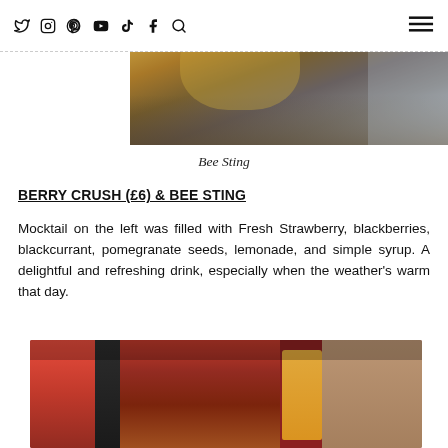Social media icons: Twitter, Instagram, Pinterest, YouTube, TikTok, Facebook, Search; hamburger menu
[Figure (photo): Top portion of a drink photo (Bee Sting mocktail) showing a golden/amber coloured drink with ice]
Bee Sting
BERRY CRUSH (£6) & BEE STING
Mocktail on the left was filled with Fresh Strawberry, blackberries, blackcurrant, pomegranate seeds, lemonade, and simple syrup. A delightful and refreshing drink, especially when the weather's warm that day.
[Figure (photo): Restaurant table scene showing a red berry mocktail drink on the left, food in the center being held with tongs, and an orange juice drink and food plates in the background]